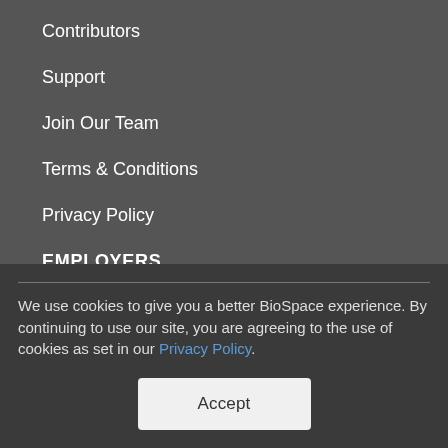Contributors
Support
Join Our Team
Terms & Conditions
Privacy Policy
EMPLOYERS
Employer Login
Unlimited Jobs
We use cookies to give you a better BioSpace experience. By continuing to use our site, you are agreeing to the use of cookies as set in our Privacy Policy.